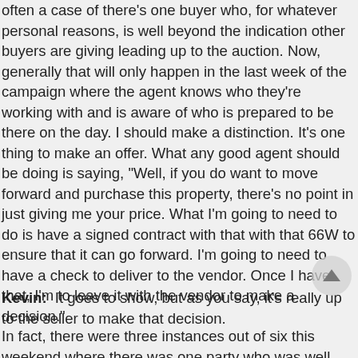often a case of there's one buyer who, for whatever personal reasons, is well beyond the indication other buyers are giving leading up to the auction. Now, generally that will only happen in the last week of the campaign where the agent knows who they're working with and is aware of who is prepared to be there on the day. I should make a distinction. It's one thing to make an offer. What any good agent should be doing is saying, "Well, if you do want to move forward and purchase this property, there's no point in just giving me your price. What I'm going to need to do is have a signed contract with that with that 66W to ensure that it can go forward. I'm going to need to have a check to deliver to the vendor. Once I have that, I'm to leave it with the vendor to make a decision."
In fact, there were three instances out of six this weekend where there was one party who was well beyond the expectations of the rest of the market.
Kevin: It goes to show, but as you say, it's really up to the seller to make that decision.